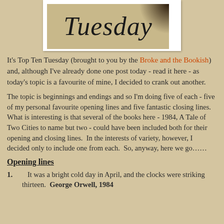[Figure (photo): Polaroid-style image with cursive text reading 'Tuesday' on a tan/beige background with a dark corner shadow]
It's Top Ten Tuesday (brought to you by the Broke and the Bookish) and, although I've already done one post today - read it here - as today's topic is a favourite of mine, I decided to crank out another.
The topic is beginnings and endings and so I'm doing five of each - five of my personal favourite opening lines and five fantastic closing lines.  What is interesting is that several of the books here - 1984, A Tale of Two Cities to name but two - could have been included both for their opening and closing lines.  In the interests of variety, however, I decided only to include one from each.  So, anyway, here we go……
Opening lines
It was a bright cold day in April, and the clocks were striking thirteen.  George Orwell, 1984